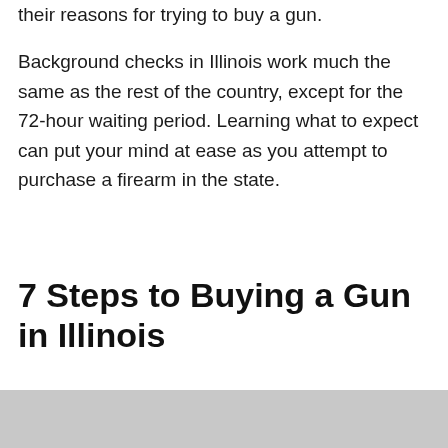their reasons for trying to buy a gun.
Background checks in Illinois work much the same as the rest of the country, except for the 72-hour waiting period. Learning what to expect can put your mind at ease as you attempt to purchase a firearm in the state.
7 Steps to Buying a Gun in Illinois
[Figure (photo): Photo of a pen lying on a document/paper against a dark grid-textured background, with a blue 'Get Certified Today' call-to-action button overlaid at the bottom.]